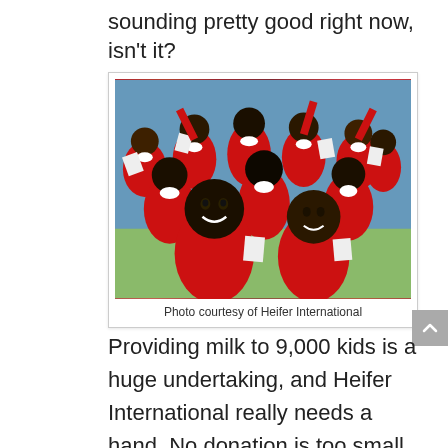sounding pretty good right now, isn't it?
[Figure (photo): Group of smiling African children in red school uniforms holding white papers/bags, crowded together and looking at the camera with joy.]
Photo courtesy of Heifer International
Providing milk to 9,000 kids is a huge undertaking, and Heifer International really needs a hand. No donation is too small. Even just $2 is enough to provide a